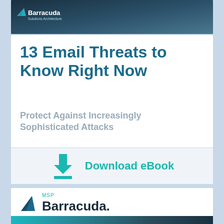[Figure (screenshot): Top banner image showing dark blue/teal background with Barracuda logo (white bird/fin icon and white Barracuda text with tagline) on left side. Background appears to show a person at a computer.]
13 Email Threats to Know Right Now
Protect Against Increasingly Sophisticated Attacks
[Figure (infographic): Download eBook button area with teal download arrow icon on left and bold teal 'Download eBook' text on right, on light gray background.]
[Figure (logo): Barracuda MSP logo: dark teal/navy fin/bird icon on left, 'MSP' text in small teal letters above, 'Barracuda.' in large dark navy serif-style text.]
[Figure (screenshot): Dark teal/blue gradient banner at bottom of second card, similar to the top image header.]